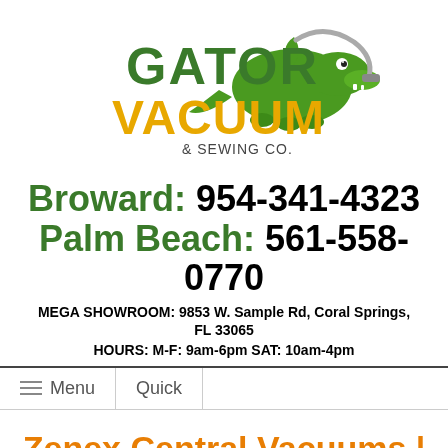[Figure (logo): Gator Vacuum & Sewing Co. logo with cartoon alligator holding a vacuum cleaner hose, text 'GATOR' in green, 'VACUUM' in orange/yellow, '& SEWING CO.' in dark gray]
Broward: 954-341-4323
Palm Beach: 561-558-0770
MEGA SHOWROOM: 9853 W. Sample Rd, Coral Springs, FL 33065
HOURS: M-F: 9am-6pm SAT: 10am-4pm
Menu  Quick
Zenex Central Vacuums | Sales, Repair, Service, & Installation